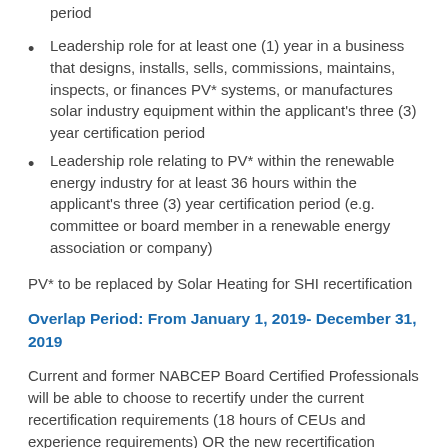period
Leadership role for at least one (1) year in a business that designs, installs, sells, commissions, maintains, inspects, or finances PV* systems, or manufactures solar industry equipment within the applicant's three (3) year certification period
Leadership role relating to PV* within the renewable energy industry for at least 36 hours within the applicant's three (3) year certification period (e.g. committee or board member in a renewable energy association or company)
PV* to be replaced by Solar Heating for SHI recertification
Overlap Period: From January 1, 2019- December 31, 2019
Current and former NABCEP Board Certified Professionals will be able to choose to recertify under the current recertification requirements (18 hours of CEUs and experience requirements) OR the new recertification